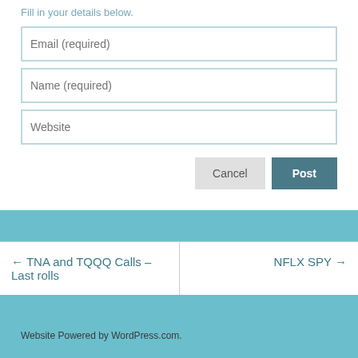Fill in your details below.
Email (required)
Name (required)
Website
Cancel
Post
← TNA and TQQQ Calls – Last rolls
NFLX SPY →
Website Powered by WordPress.com.